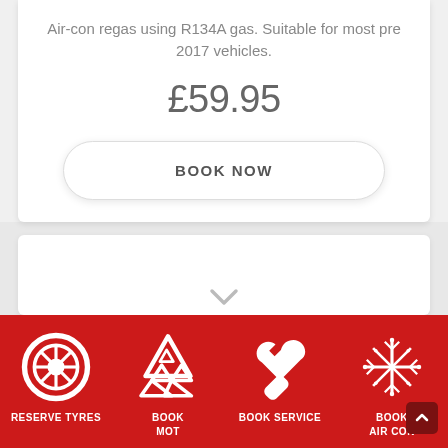Air-con regas using R134A gas. Suitable for most pre 2017 vehicles.
£59.95
BOOK NOW
[Figure (infographic): Red footer navigation bar with four white icons and labels: RESERVE TYRES (tyre/wheel icon), BOOK MOT (triangular hazard icon), BOOK SERVICE (wrench icon), BOOK AIR CON (snowflake icon)]